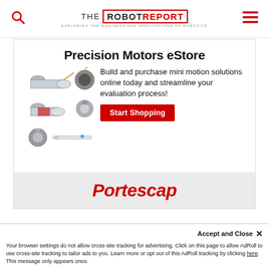[Figure (logo): The Robot Report logo with search icon and hamburger menu in header]
[Figure (infographic): Precision Motors eStore advertisement by Portescap featuring small cylindrical motors and text: Build and purchase mini motion solutions online today and streamline your evaluation process! with a red Start Shopping button. Portescap brand name in red italic at bottom.]
Accept and Close ✕
Your browser settings do not allow cross-site tracking for advertising. Click on this page to allow AdRoll to use cross-site tracking to tailor ads to you. Learn more or opt out of this AdRoll tracking by clicking here. This message only appears once.